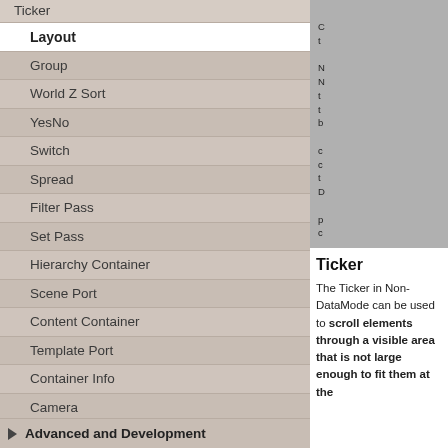Ticker
Layout
Group
World Z Sort
YesNo
Switch
Spread
Filter Pass
Set Pass
Hierarchy Container
Scene Port
Content Container
Template Port
Container Info
Camera
Paths
Advanced and Development
[Figure (illustration): Orange info icon (letter i on orange circle) in a grey box with partial text visible]
Ticker
The Ticker in Non-DataMode can be used to scroll elements through a visible area that is not large enough to fit them at the